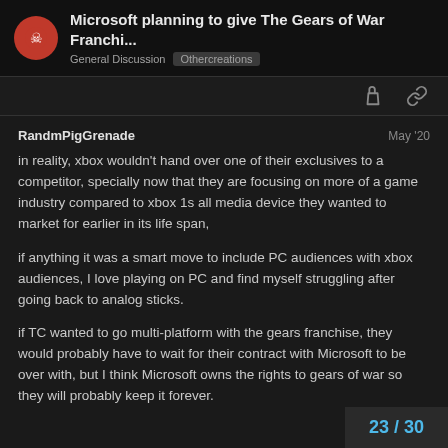Microsoft planning to give The Gears of War Franchi... General Discussion Othercreations
RandmPigGrenade
May '20
in reality, xbox wouldn't hand over one of their exclusives to a competitor, specially now that they are focusing on more of a game industry compared to xbox 1s all media device they wanted to market for earlier in its life span,

if anything it was a smart move to include PC audiences with xbox audiences, I love playing on PC and find myself struggling after going back to analog sticks.

if TC wanted to go multi-platform with the gears franchise, they would probably have to wait for their contract with Microsoft to be over with, but I think Microsoft owns the rights to gears of war so they will probably keep it forever.
23 / 30